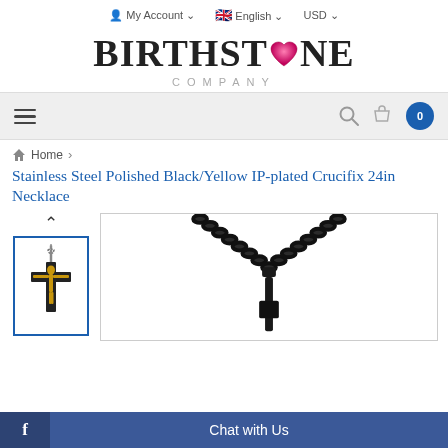My Account   English   USD
[Figure (logo): Birthstone Company logo with heart replacing the 'O' in STONE, followed by COMPANY in spaced caps]
[Figure (screenshot): Navigation bar with hamburger menu on left, search icon and shopping cart (0 items) on right, on grey background]
Home >
Stainless Steel Polished Black/Yellow IP-plated Crucifix 24in Necklace
[Figure (photo): Thumbnail of crucifix necklace pendant with black cross and gold-colored Christ figure, gold-toned chain]
[Figure (photo): Main product photo of stainless steel polished black/yellow IP-plated crucifix necklace showing black chain and upper portion of cross pendant]
Chat with Us